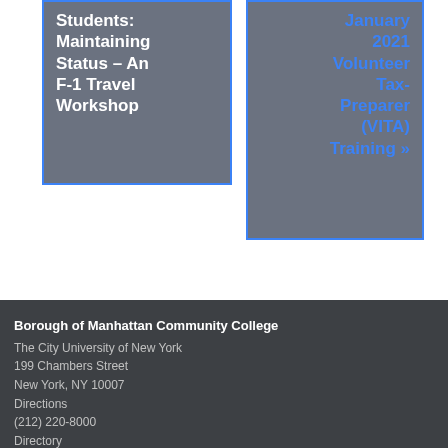Students: Maintaining Status – An F-1 Travel Workshop
January 2021 Volunteer Tax-Preparer (VITA) Training »
Borough of Manhattan Community College
The City University of New York
199 Chambers Street
New York, NY 10007
Directions
(212) 220-8000
Directory